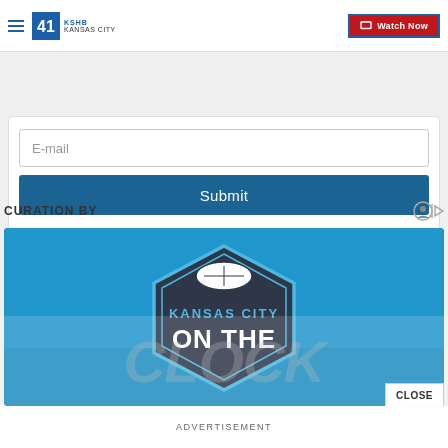41 KSHB KANSAS CITY — Watch Now
E-mail
Submit
CURATION BY
[Figure (logo): Kansas City On The Clock hexagonal logo badge on blue background]
ADVERTISEMENT
CLOSE